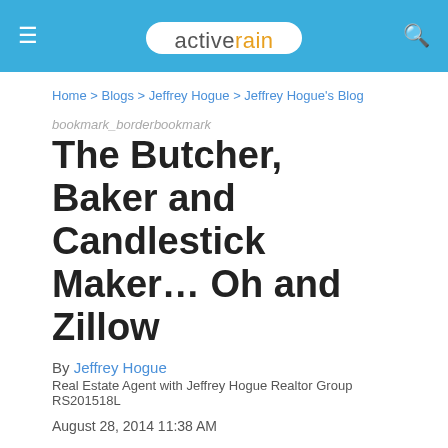activerain
Home > Blogs > Jeffrey Hogue > Jeffrey Hogue's Blog
bookmark_borderbookmark
The Butcher, Baker and Candlestick Maker… Oh and Zillow
By Jeffrey Hogue
Real Estate Agent with Jeffrey Hogue Realtor Group RS201518L
August 28, 2014 11:38 AM
butcher baker and the candlestick maker   Pricing a home or property